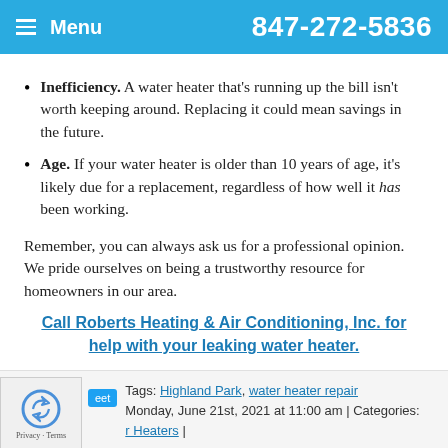Menu  847-272-5836
Inefficiency. A water heater that's running up the bill isn't worth keeping around. Replacing it could mean savings in the future.
Age. If your water heater is older than 10 years of age, it's likely due for a replacement, regardless of how well it has been working.
Remember, you can always ask us for a professional opinion. We pride ourselves on being a trustworthy resource for homeowners in our area.
Call Roberts Heating & Air Conditioning, Inc. for help with your leaking water heater.
Tags: Highland Park, water heater repair
Monday, June 21st, 2021 at 11:00 am | Categories:
r Heaters |